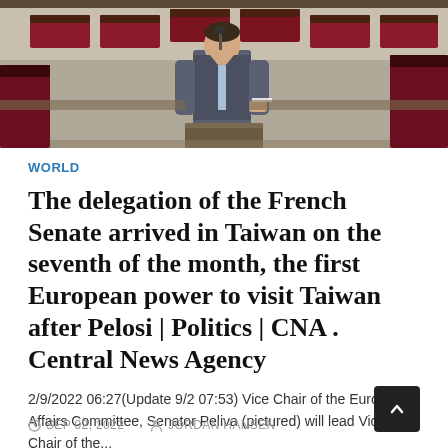[Figure (photo): A man in a grey suit speaking at a podium in what appears to be a legislative chamber with red upholstered seats visible in the background]
WORLD
The delegation of the French Senate arrived in Taiwan on the seventh of the month, the first European power to visit Taiwan after Pelosi | Politics | CNA . Central News Agency
2/9/2022 06:27(Update 9/2 07:53) Vice Chair of the European Affairs Committee, Senator Peliva (pictured) will lead Vice Chair of the...
SEP 02, 2022   JORDAN HANSEN